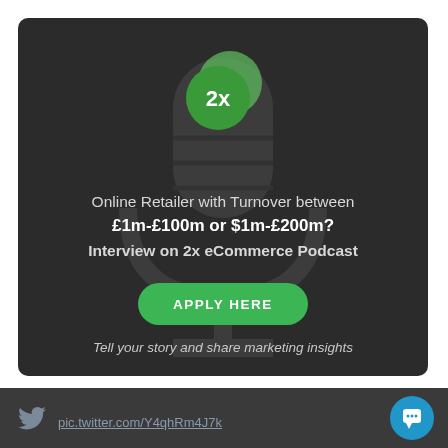[Figure (infographic): Dark rounded card with 2x eCommerce Podcast promotional content, including a green '2x' badge with overlapping circles, a faint microphone watermark, main promotional text, a green 'APPLY HERE' button, and an italic tagline.]
Online Retailer with Turnover between £1m-£100m or $1m-£200m? Interview on 2x eCommerce Podcast
APPLY HERE
Tell your story and share marketing insights
pic.twitter.com/Y4qhRm4J7k